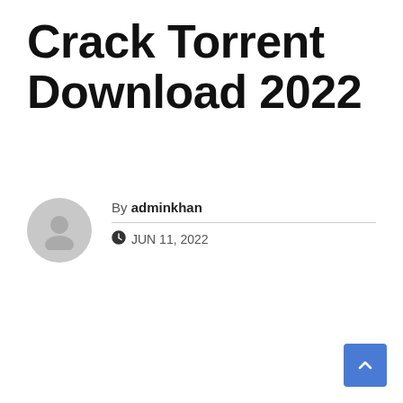Crack Torrent Download 2022
By adminkhan
JUN 11, 2022